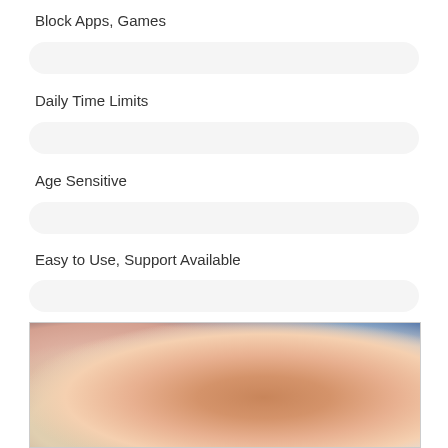Block Apps, Games
Daily Time Limits
Age Sensitive
Easy to Use, Support Available
[Figure (photo): Close-up photo of a child's hand using a computer mouse on a desk]